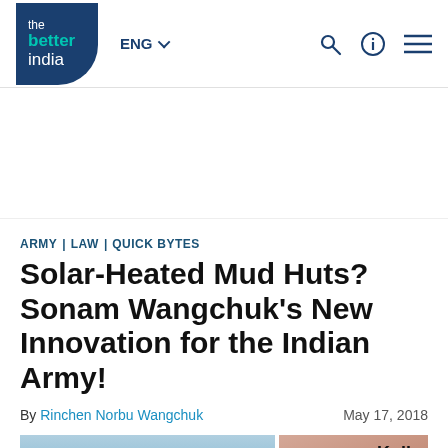the better india | ENG
ARMY | LAW | QUICK BYTES
Solar-Heated Mud Huts? Sonam Wangchuk's New Innovation for the Indian Army!
By Rinchen Norbu Wangchuk    May 17, 2018
[Figure (photo): Two images side by side: left shows a structure against a sky, right shows a person's face with 'Kolka' text overlay]